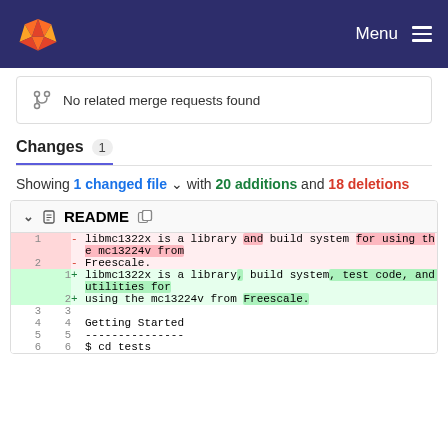Menu
No related merge requests found
Changes 1
Showing 1 changed file with 20 additions and 18 deletions
| old line | new line | op | code |
| --- | --- | --- | --- |
| 1 |  | - | libmc1322x is a library and build system for using the mc13224v from |
| 2 |  | - | Freescale. |
|  | 1 | + | libmc1322x is a library, build system, test code, and utilities for |
|  | 2 | + | using the mc13224v from Freescale. |
| 3 | 3 |  |  |
| 4 | 4 |  | Getting Started |
| 5 | 5 |  | --------------- |
| 6 | 6 |  | $ cd tests |